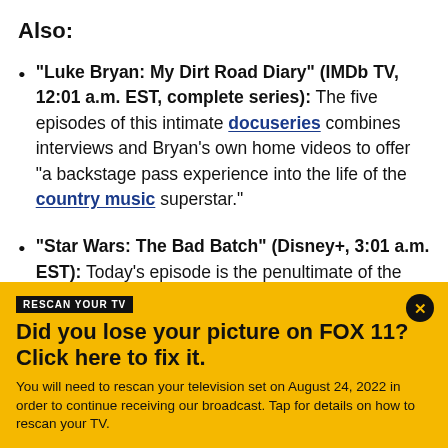Also:
"Luke Bryan: My Dirt Road Diary" (IMDb TV, 12:01 a.m. EST, complete series): The five episodes of this intimate docuseries combines interviews and Bryan's own home videos to offer "a backstage pass experience into the life of the country music superstar."
"Star Wars: The Bad Batch" (Disney+, 3:01 a.m. EST): Today's episode is the penultimate of the
RESCAN YOUR TV
Did you lose your picture on FOX 11? Click here to fix it.
You will need to rescan your television set on August 24, 2022 in order to continue receiving our broadcast. Tap for details on how to rescan your TV.